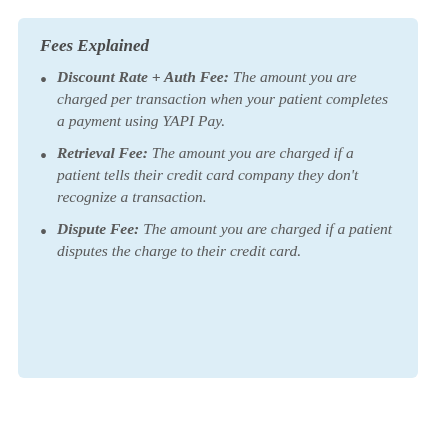Fees Explained
Discount Rate + Auth Fee: The amount you are charged per transaction when your patient completes a payment using YAPI Pay.
Retrieval Fee: The amount you are charged if a patient tells their credit card company they don't recognize a transaction.
Dispute Fee: The amount you are charged if a patient disputes the charge to their credit card.